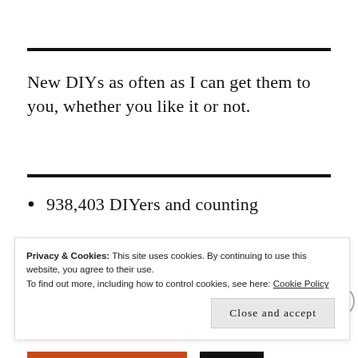New DIYs as often as I can get them to you, whether you like it or not.
938,403 DIYers and counting
Privacy & Cookies: This site uses cookies. By continuing to use this website, you agree to their use.
To find out more, including how to control cookies, see here: Cookie Policy
Close and accept